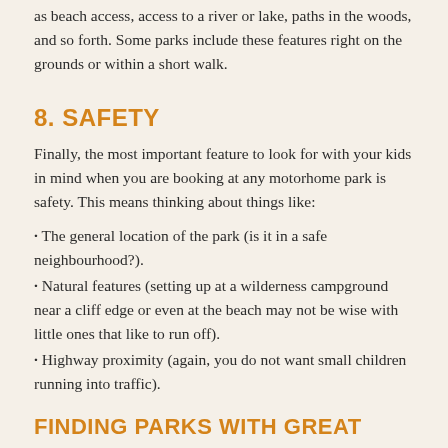as beach access, access to a river or lake, paths in the woods, and so forth. Some parks include these features right on the grounds or within a short walk.
8. SAFETY
Finally, the most important feature to look for with your kids in mind when you are booking at any motorhome park is safety. This means thinking about things like:
The general location of the park (is it in a safe neighbourhood?).
Natural features (setting up at a wilderness campground near a cliff edge or even at the beach may not be wise with little ones that like to run off).
Highway proximity (again, you do not want small children running into traffic).
FINDING PARKS WITH GREAT